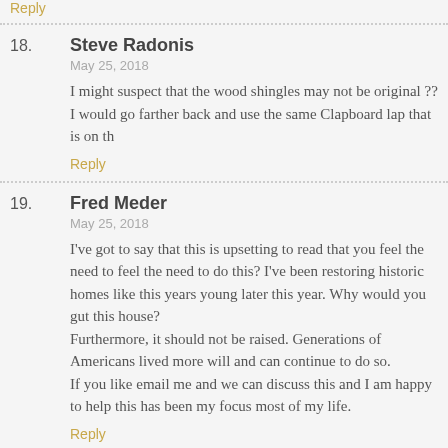Reply
18. Steve Radonis
May 25, 2018
I might suspect that the wood shingles may not be original ??
I would go farther back and use the same Clapboard lap that is on th
Reply
19. Fred Meder
May 25, 2018
I've got to say that this is upsetting to read that you feel the need to feel the need to do this? I've been restoring historic homes like this years young later this year. Why would you gut this house?
Furthermore, it should not be raised. Generations of Americans lived more will and can continue to do so.
If you like email me and we can discuss this and I am happy to help this has been my focus most of my life.
Reply